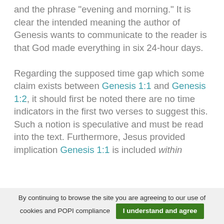and the phrase "evening and morning." It is clear the intended meaning the author of Genesis wants to communicate to the reader is that God made everything in six 24-hour days.

Regarding the supposed time gap which some claim exists between Genesis 1:1 and Genesis 1:2, it should first be noted there are no time indicators in the first two verses to suggest this. Such a notion is speculative and must be read into the text. Furthermore, Jesus provided implication Genesis 1:1 is included within
By continuing to browse the site you are agreeing to our use of cookies and POPI compliance  I understand and agree